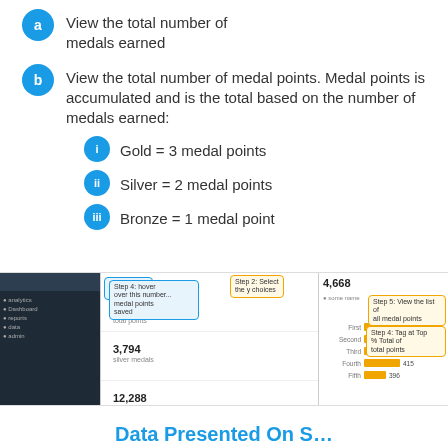View the total number of medals earned
View the total number of medal points. Medal points is accumulated and is the total based on the number of medals earned:
Gold = 3 medal points
Silver = 2 medal points
Bronze = 1 medal point
[Figure (screenshot): Dashboard screenshot showing medal statistics with metrics 47,190, 3,794, and 12,288, along with bar charts and callout annotations on the right panel showing values like 4,668.]
Data Presented On S...